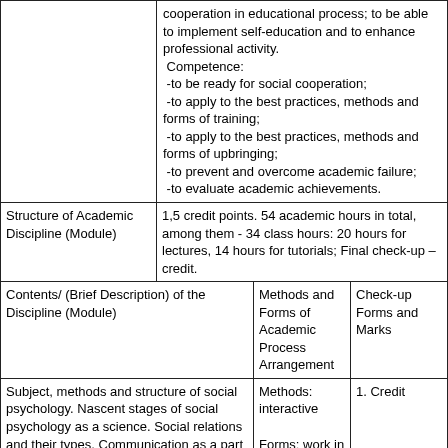|  | Content / Description | Methods and Forms of Academic Process Arrangement | Check-up Forms and Marks |
| --- | --- | --- | --- |
|  | cooperation in educational process; to be able to implement self-education and to enhance professional activity.
Competence:
-to be ready for social cooperation;
-to apply to the best practices, methods and forms of training;
-to apply to the best practices, methods and forms of upbringing;
-to prevent and overcome academic failure;
-to evaluate academic achievements. |  |  |
| Structure of Academic Discipline (Module) | 1,5 credit points. 54 academic hours in total, among them - 34 class hours: 20 hours for lectures, 14 hours for tutorials; Final check-up –credit. |  |  |
| Contents/ (Brief Description) of the Discipline (Module) |  | Methods and Forms of Academic Process Arrangement | Check-up Forms and Marks |
| Subject, methods and structure of social psychology. Nascent stages of social psychology as a science. Social relations and their types. Communication as a part of social relations. Communicative, | Methods: interactive

Forms: work in groups | 1. Credit |  |